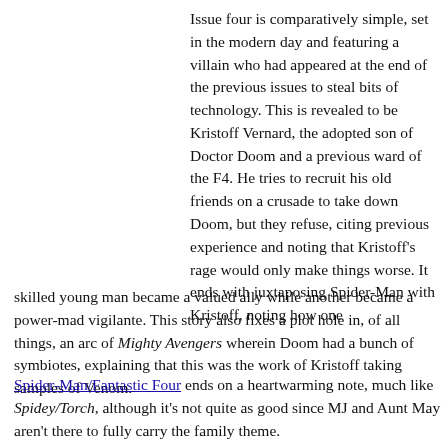Issue four is comparatively simple, set in the modern day and featuring a villain who had appeared at the end of the previous issues to steal bits of technology. This is revealed to be Kristoff Vernard, the adopted son of Doctor Doom and a previous ward of the F4. He tries to recruit his old friends on a crusade to take down Doom, but they refuse, citing previous experience and noting that Kristoff's rage would only make things worse. It ends with juxtaposing Spider-Man with Kristoff, noting how one skilled young man became a valued ally while another became a power-mad vigilante. This story also fixes a plot hole in, of all things, an arc of Mighty Avengers wherein Doom had a bunch of symbiotes, explaining that this was the work of Kristoff taking samples of Venom.
Spider-Man/Fantastic Four ends on a heartwarming note, much like Spidey/Torch, although it's not quite as good since MJ and Aunt May aren't there to fully carry the family theme.